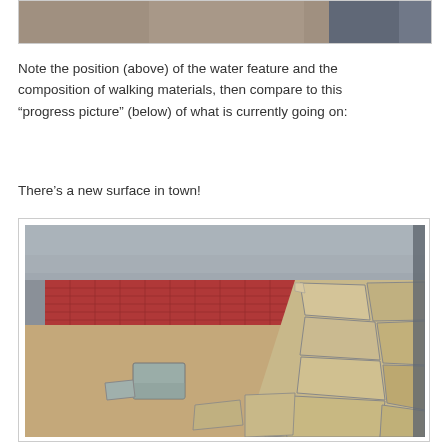[Figure (photo): Partial view of a patio area with water feature and walking materials, cropped at top]
Note the position (above) of the water feature and the composition of walking materials, then compare to this “progress picture” (below) of what is currently going on:
There’s a new surface in town!
[Figure (photo): Progress photo showing irregular flagstone pavers being laid alongside a red textured mat/template, with sand base visible, adjacent to a metal fence]